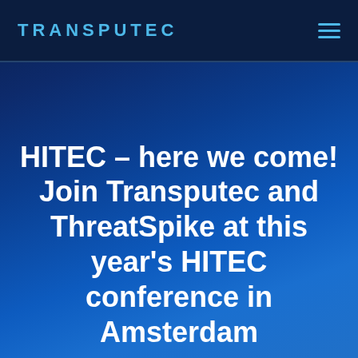TRANSPUTEC
HITEC – here we come! Join Transputec and ThreatSpike at this year's HITEC conference in Amsterdam